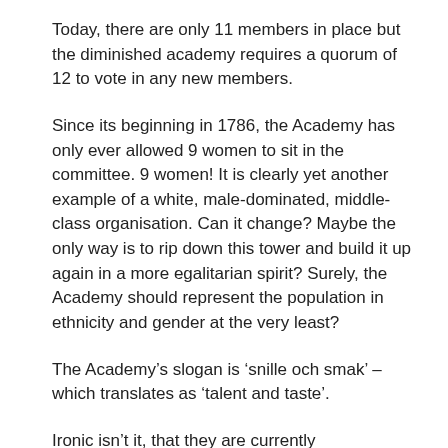Today, there are only 11 members in place but the diminished academy requires a quorum of 12 to vote in any new members.
Since its beginning in 1786, the Academy has only ever allowed 9 women to sit in the committee. 9 women! It is clearly yet another example of a white, male-dominated, middle-class organisation. Can it change? Maybe the only way is to rip down this tower and build it up again in a more egalitarian spirit? Surely, the Academy should represent the population in ethnicity and gender at the very least?
The Academy's slogan is ‘snille och smak’ – which translates as ‘talent and taste’.
Ironic isn’t it, that they are currently demonstrating neither of them.